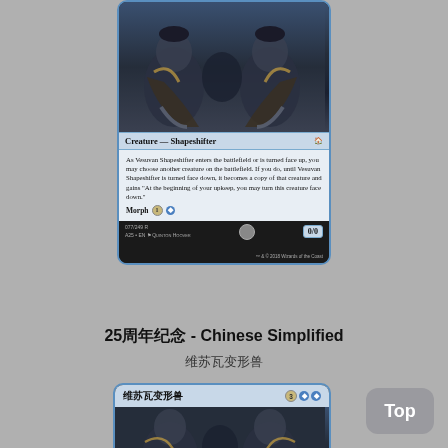[Figure (illustration): Magic: The Gathering card - Vesuvan Shapeshifter in English. Shows creature type 'Creature — Shapeshifter', card text about entering battlefield and morph ability, 0/0 power/toughness. Card number 077/249 R, A25 set, illustrated by Quinton Hooper.]
25周年纪念 - Chinese Simplified
维苏瓦变形兽
[Figure (illustration): Magic: The Gathering card - Vesuvan Shapeshifter in Chinese Simplified, showing the card name 维苏瓦变形兽 with mana cost 3UU, and partial card art.]